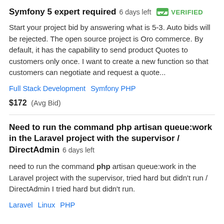Symfony 5 expert required  6 days left  VERIFIED
Start your project bid by answering what is 5-3. Auto bids will be rejected. The open source project is Oro commerce. By default, it has the capability to send product Quotes to customers only once. I want to create a new function so that customers can negotiate and request a quote...
Full Stack Development   Symfony PHP
$172  (Avg Bid)
Need to run the command php artisan queue:work in the Laravel project with the supervisor / DirectAdmin  6 days left
need to run the command php artisan queue:work in the Laravel project with the supervisor, tried hard but didn't run / DirectAdmin I tried hard but didn't run.
Laravel   Linux   PHP